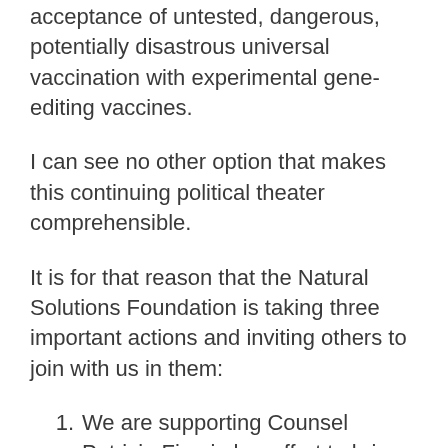acceptance of untested, dangerous, potentially disastrous universal vaccination with experimental gene-editing vaccines.
I can see no other option that makes this continuing political theater comprehensible.
It is for that reason that the Natural Solutions Foundation is taking three important actions and inviting others to join with us in them:
We are supporting Counsel Patricia Finn in her effort to bring a decisive case before the Supreme Court in the hopes of sustaining a ruling against mandated vaccines.  Anyone who does